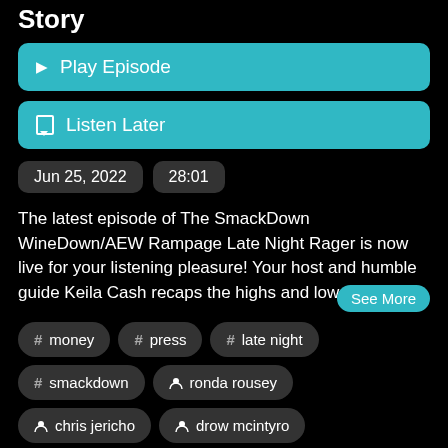Story
▶ Play Episode
🔖 Listen Later
Jun 25, 2022   28:01
The latest episode of The SmackDown WineDown/AEW Rampage Late Night Rager is now live for your listening pleasure! Your host and humble guide Keila Cash recaps the highs and lows from last
# money
# press
# late night
# smackdown
ronda rousey
chris jericho
drow mcintyro